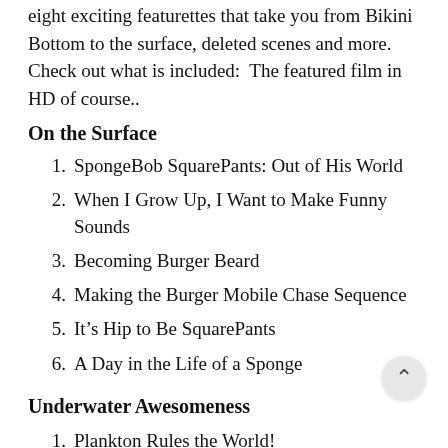eight exciting featurettes that take you from Bikini Bottom to the surface, deleted scenes and more. Check out what is included:  The featured film in HD of course..
On the Surface
1. SpongeBob SquarePants: Out of His World
2. When I Grow Up, I Want to Make Funny Sounds
3. Becoming Burger Beard
4. Making the Burger Mobile Chase Sequence
5. It’s Hip to Be SquarePants
6. A Day in the Life of a Sponge
Underwater Awesomeness
1. Plankton Rules the World!
2. Bikini Bottom Confidential: Rock Stars of the S...